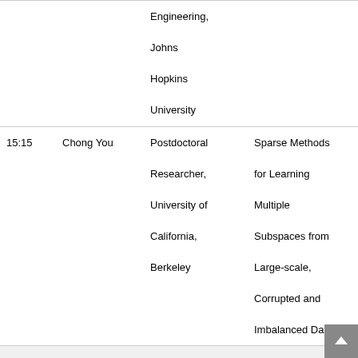| Time | Speaker | Affiliation | Talk Title |
| --- | --- | --- | --- |
|  |  | Engineering, Johns Hopkins University |  |
| 15:15 | Chong You | Postdoctoral Researcher, University of California, Berkeley | Sparse Methods for Learning Multiple Subspaces from Large-scale, Corrupted and Imbalanced Data |
| 15:30 | Coffee Break |  |  |
|  | Session 4 |  |  |